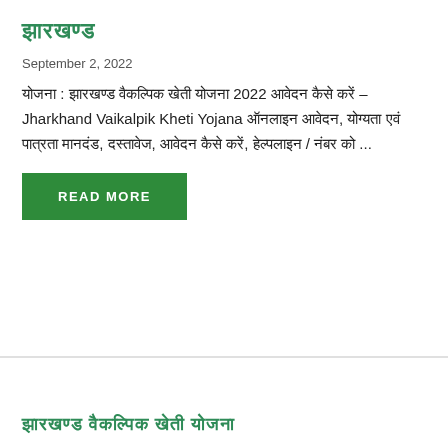झारखण्ड
September 2, 2022
योजना : झारखण्ड वैकल्पिक खेती योजना 2022 आवेदन कैसे करें – Jharkhand Vaikalpik Kheti Yojana ऑनलाइन आवेदन, योग्यता एवं पात्रता मानदंड, दस्तावेज, आवेदन कैसे करें, हेल्पलाइन / कस्टमर नंबर ...
READ MORE
झारखण्ड वैकल्पिक खेती योजना